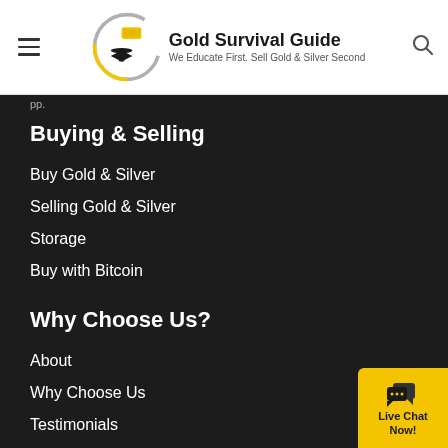Gold Survival Guide — We Educate First. Sell Gold & Silver Second
Buying & Selling
Buy Gold & Silver
Selling Gold & Silver
Storage
Buy with Bitcoin
Why Choose Us?
About
Why Choose Us
Testimonials
Contact
Emergency Food NZ
Terms of Use & Privacy